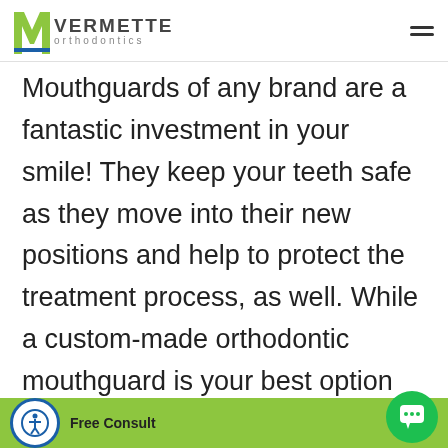Vermette Orthodontics
Mouthguards of any brand are a fantastic investment in your smile! They keep your teeth safe as they move into their new positions and help to protect the treatment process, as well. While a custom-made orthodontic mouthguard is your best option as a braces patient, any of the mouthguards we discussed above are a good choice for keeping your smile safe! And of course, any kind
Free Consult